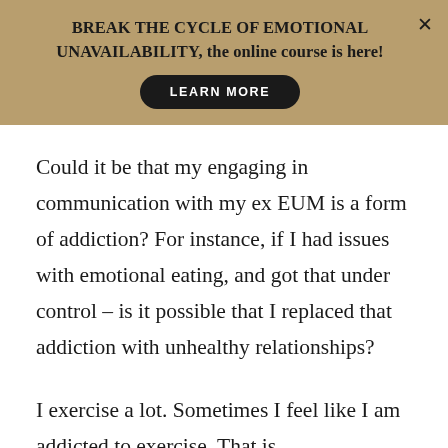BREAK THE CYCLE OF EMOTIONAL UNAVAILABILITY, the online course is here!
LEARN MORE
Could it be that my engaging in communication with my ex EUM is a form of addiction? For instance, if I had issues with emotional eating, and got that under control – is it possible that I replaced that addiction with unhealthy relationships?
I exercise a lot. Sometimes I feel like I am addicted to exercise. That is...